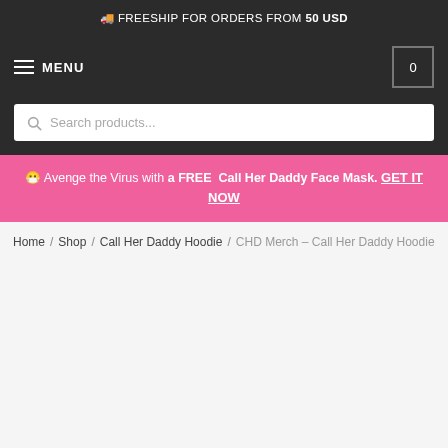🚚 FREESHIP FOR ORDERS FROM 50 USD
MENU  |  0 (cart)
Search products...
😷 Avenge the Virus with a FREE Call Her Daddy Face Mask. GET IT NOW
Home / Shop / Call Her Daddy Hoodie / CHD Merch – Call Her Daddy Hoodie